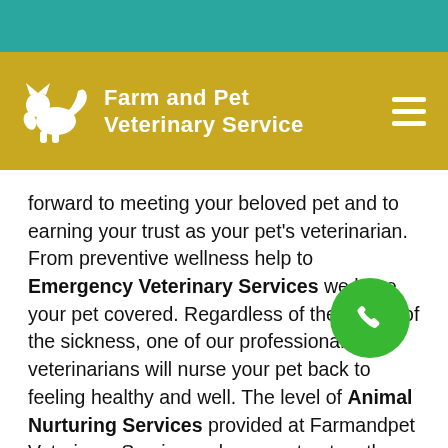Farm and Pet Veterinary Service
forward to meeting your beloved pet and to earning your trust as your pet's veterinarian. From preventive wellness help to Emergency Veterinary Services we have your pet covered. Regardless of the nature of the sickness, one of our professional veterinarians will nurse your pet back to feeling healthy and well. The level of Animal Nurturing Services provided at Farmandpet Veterinary Service makes us a trustworthy clnic for all of your veterinary needs. We offer a range of services to assist your pet enjoy the best possible health. Our skilled veterinary employees will ensure that our patients receive Quality Medication and Care at all times. Get to get to know the